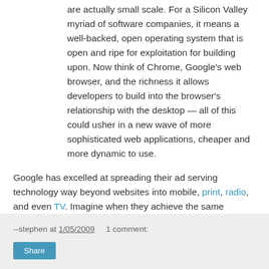are actually small scale. For a Silicon Valley myriad of software companies, it means a well-backed, open operating system that is open and ripe for exploitation for building upon. Now think of Chrome, Google's web browser, and the richness it allows developers to build into the browser's relationship with the desktop — all of this could usher in a new wave of more sophisticated web applications, cheaper and more dynamic to use.
Google has excelled at spreading their ad serving technology way beyond websites into mobile, print, radio, and even TV. Imagine when they achieve the same success with their system software.
An internet-enabled TV running Android and serving Google ads? Hmmmm...
--stephen at 1/05/2009   1 comment:  Share